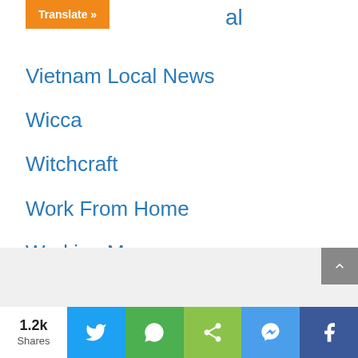Translate »
Vietnam Local News
Wicca
Witchcraft
Work From Home
Working Mom
Workplace
1.2k Shares